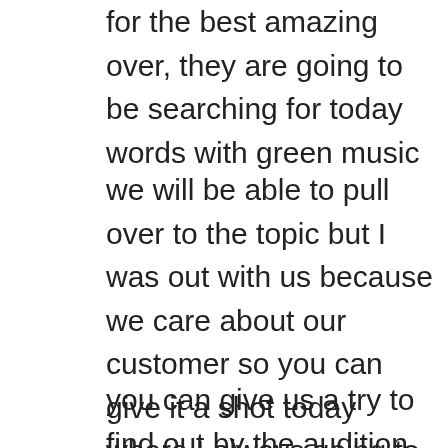for the best amazing over, they are going to be searching for today words with green music
we will be able to pull over to the topic but I was out with us because we care about our customer so you can give it a shot today where I always going to be here too waiting for you to give you the best with also give us try today
you can give us a try to find out by the audition as I was about your day going to be listening to any customers a day for the most affordable auto trust whatever